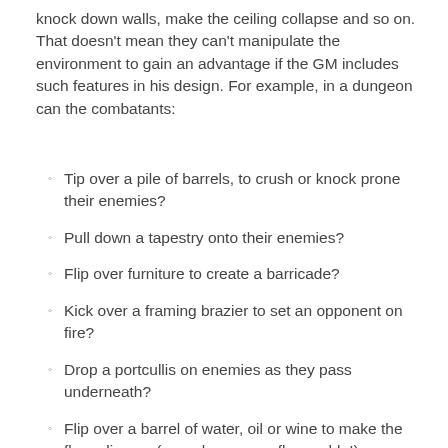knock down walls, make the ceiling collapse and so on. That doesn't mean they can't manipulate the environment to gain an advantage if the GM includes such features in his design. For example, in a dungeon can the combatants:
Tip over a pile of barrels, to crush or knock prone their enemies?
Pull down a tapestry onto their enemies?
Flip over furniture to create a barricade?
Kick over a framing brazier to set an opponent on fire?
Drop a portcullis on enemies as they pass underneath?
Flip over a barrel of water, oil or wine to make the floor slippery (or perhaps even flammable!)